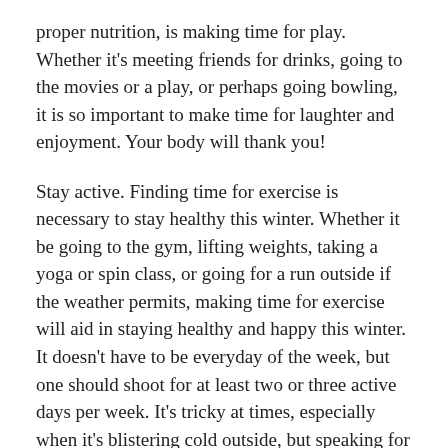proper nutrition, is making time for play. Whether it's meeting friends for drinks, going to the movies or a play, or perhaps going bowling, it is so important to make time for laughter and enjoyment. Your body will thank you!
Stay active. Finding time for exercise is necessary to stay healthy this winter. Whether it be going to the gym, lifting weights, taking a yoga or spin class, or going for a run outside if the weather permits, making time for exercise will aid in staying healthy and happy this winter. It doesn't have to be everyday of the week, but one should shoot for at least two or three active days per week. It's tricky at times, especially when it's blistering cold outside, but speaking for myself, I always feel so much brighter and happier after completing a workout. The endorphins that are released during exercise trigger positive feelings in the body, in addition to other brain-boosting chemicals, which all aid in improving cognitive function and mood